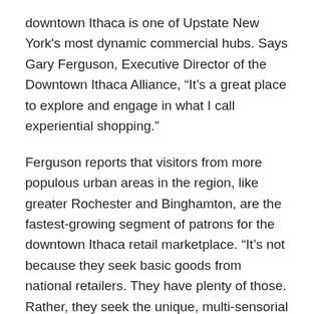downtown Ithaca is one of Upstate New York's most dynamic commercial hubs. Says Gary Ferguson, Executive Director of the Downtown Ithaca Alliance, “It’s a great place to explore and engage in what I call experiential shopping.”
Ferguson reports that visitors from more populous urban areas in the region, like greater Rochester and Binghamton, are the fastest-growing segment of patrons for the downtown Ithaca retail marketplace. “It’s not because they seek basic goods from national retailers. They have plenty of those. Rather, they seek the unique, multi-sensorial quality that our walkable shopping district has to offer.”
F. Oliver’s Oils and Vinegars, a new boutique on the Ithaca Commons, is a prime example of experiential shopping.